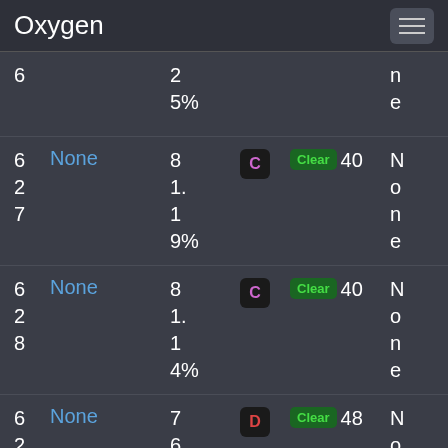Oxygen
| ID | Name | Value | Badge | Clear | Status |
| --- | --- | --- | --- | --- | --- |
| 6 |  | 2
5% |  |  | n
e |
| 6
2
7 | None | 8
1.
1
9% | C | Clear 40 | N
o
n
e |
| 6
2
8 | None | 8
1.
1
4% | C | Clear 40 | N
o
n
e |
| 6
2
9 | None | 7
6.
5% | D | Clear 48 | N
o
n |